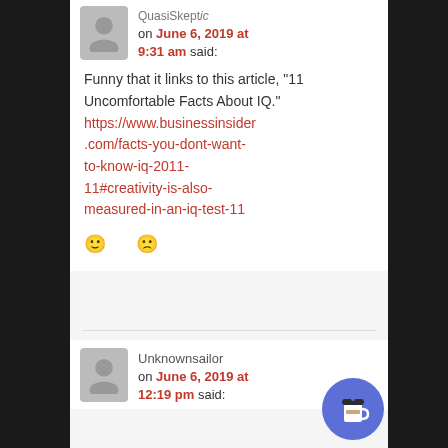QuasiSkeptic on June 6, 2019 at 9:31 am said:
Funny that it links to this article, “11 Uncomfortable Facts About IQ.” https://www.businessinsider.com/facts-you-dont-want-to-know-iq-2011-11#creativity-is-also-measured-in-an-iq-test-11
Unknownsailor on June 6, 2019 at 12:19 pm said: